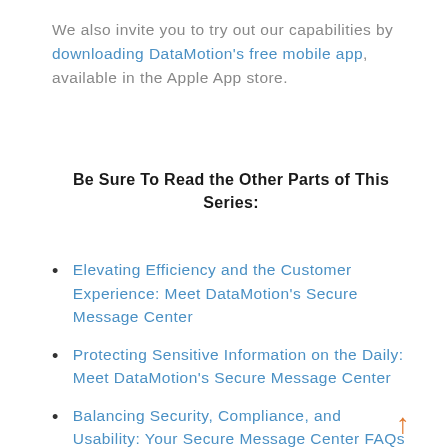We also invite you to try out our capabilities by downloading DataMotion's free mobile app, available in the Apple App store.
Be Sure To Read the Other Parts of This Series:
Elevating Efficiency and the Customer Experience: Meet DataMotion's Secure Message Center
Protecting Sensitive Information on the Daily: Meet DataMotion's Secure Message Center
Balancing Security, Compliance, and Usability: Your Secure Message Center FAQs